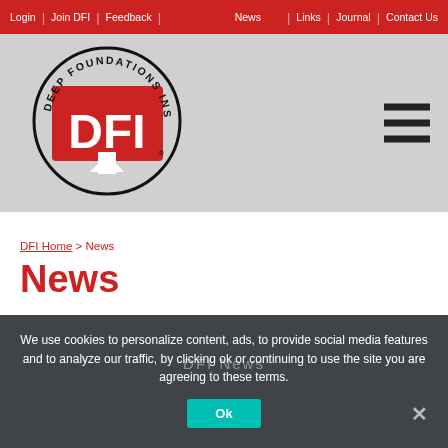Login | Join DFI | Feedback | News | Links | Journal | Contact Us
[Figure (logo): Deep Foundations Institute (DFI) circular logo with red DFI letters and downward arrow]
DFI Home > News
News
We use cookies to personalize content, ads, to provide social media features and to analyze our traffic, by clicking ok or continuing to use the site you are agreeing to these terms.
DFI News